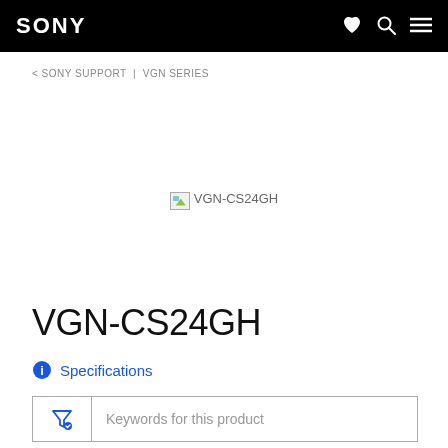SONY
< SONY SUPPORT | VGN SERIES
[Figure (photo): Broken/missing product image placeholder for VGN-CS24GH]
VGN-CS24GH
Specifications
Keywords for this product